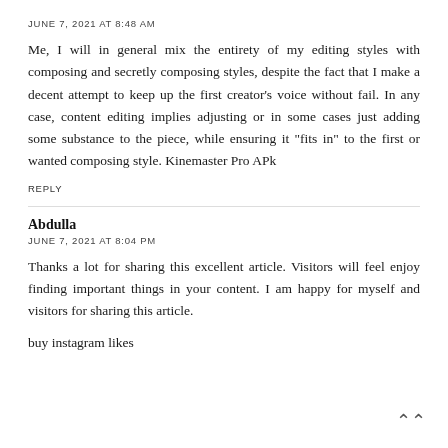JUNE 7, 2021 AT 8:48 AM
Me, I will in general mix the entirety of my editing styles with composing and secretly composing styles, despite the fact that I make a decent attempt to keep up the first creator's voice without fail. In any case, content editing implies adjusting or in some cases just adding some substance to the piece, while ensuring it "fits in" to the first or wanted composing style. Kinemaster Pro APk
REPLY
Abdulla
JUNE 7, 2021 AT 8:04 PM
Thanks a lot for sharing this excellent article. Visitors will feel enjoy finding important things in your content. I am happy for myself and visitors for sharing this article.
buy instagram likes